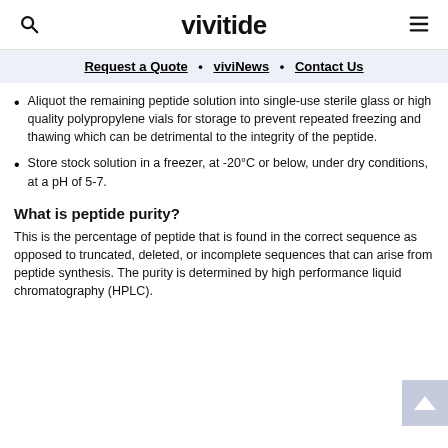vivitide
Request a Quote • viviNews • Contact Us
Aliquot the remaining peptide solution into single-use sterile glass or high quality polypropylene vials for storage to prevent repeated freezing and thawing which can be detrimental to the integrity of the peptide.
Store stock solution in a freezer, at -20°C or below, under dry conditions, at a pH of 5-7.
What is peptide purity?
This is the percentage of peptide that is found in the correct sequence as opposed to truncated, deleted, or incomplete sequences that can arise from peptide synthesis. The purity is determined by high performance liquid chromatography (HPLC).